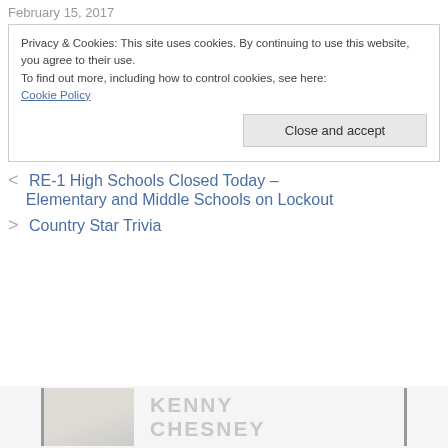February 15, 2017
Privacy & Cookies: This site uses cookies. By continuing to use this website, you agree to their use.
To find out more, including how to control cookies, see here:
Cookie Policy
Close and accept
< RE-1 High Schools Closed Today – Elementary and Middle Schools on Lockout
> Country Star Trivia
[Figure (photo): Partial advertisement banner showing Kenny Chesney text in gray with a partial image on the left side.]